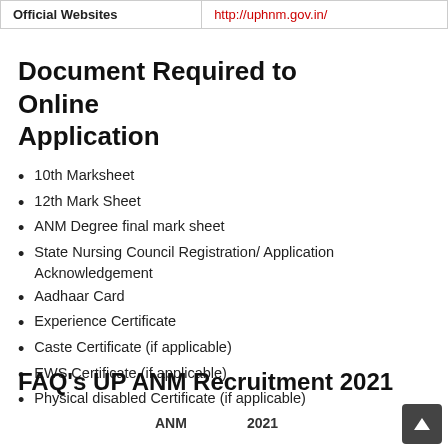| Official Websites |  |
| --- | --- |
| Official Websites | http://uphnm.gov.in/ |
Document Required to Online Application
10th Marksheet
12th Mark Sheet
ANM Degree final mark sheet
State Nursing Council Registration/ Application Acknowledgement
Aadhaar Card
Experience Certificate
Caste Certificate (if applicable)
EWS Certificate (if applicable)
Physical disabled Certificate (if applicable)
FAQ's UP ANM Recruitment 2021
ANM    2021